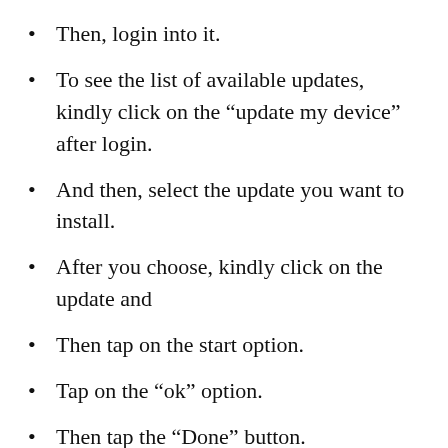Then, login into it.
To see the list of available updates, kindly click on the “update my device” after login.
And then, select the update you want to install.
After you choose, kindly click on the update and
Then tap on the start option.
Tap on the “ok” option.
Then tap the “Done” button.
And there you go. It will take a few seconds to complete the updating process. See how